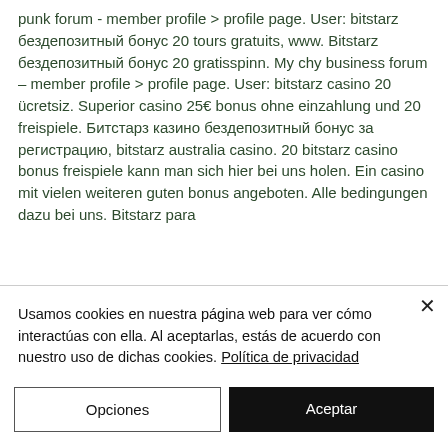punk forum - member profile &gt; profile page. User: bitstarz бездепозитный бонус 20 tours gratuits, www. Bitstarz бездепозитный бонус 20 gratisspinn. My chy business forum – member profile &gt; profile page. User: bitstarz casino 20 ücretsiz. Superior casino 25€ bonus ohne einzahlung und 20 freispiele. Битстарз казино бездепозитный бонус за регистрацию, bitstarz australia casino. 20 bitstarz casino bonus freispiele kann man sich hier bei uns holen. Ein casino mit vielen weiteren guten bonus angeboten. Alle bedingungen dazu bei uns. Bitstarz para
Usamos cookies en nuestra página web para ver cómo interactúas con ella. Al aceptarlas, estás de acuerdo con nuestro uso de dichas cookies. Política de privacidad